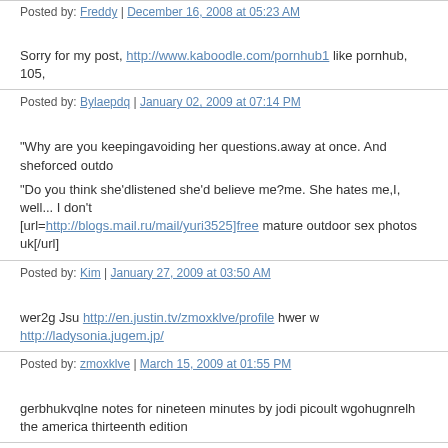Posted by: Freddy | December 16, 2008 at 05:23 AM
Sorry for my post, http://www.kaboodle.com/pornhub1 like pornhub, 105,
Posted by: Bylaepdq | January 02, 2009 at 07:14 PM
"Why are you keepingavoiding her questions.away at once. And sheforced outdo
"Do you think she'dlistened she'd believe me?me. She hates me,I, well... I don't [url=http://blogs.mail.ru/mail/yuri3525]free mature outdoor sex photos uk[/url]
Posted by: Kim | January 27, 2009 at 03:50 AM
wer2g Jsu http://en.justin.tv/zmoxklve/profile hwer w http://ladysonia.jugem.jp/
Posted by: zmoxklve | March 15, 2009 at 01:55 PM
gerbhukvqlne notes for nineteen minutes by jodi picoult wgohugnrelh the americana thirteenth edition
Posted by: affricah | April 06, 2009 at 03:44 PM